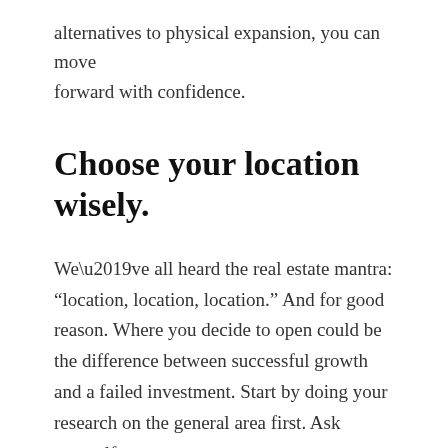alternatives to physical expansion, you can move forward with confidence.
Choose your location wisely.
We’ve all heard the real estate mantra: “location, location, location.” And for good reason. Where you decide to open could be the difference between successful growth and a failed investment. Start by doing your research on the general area first. Ask yourself:
Is the proposed new location close enough to build on your initial success and brand